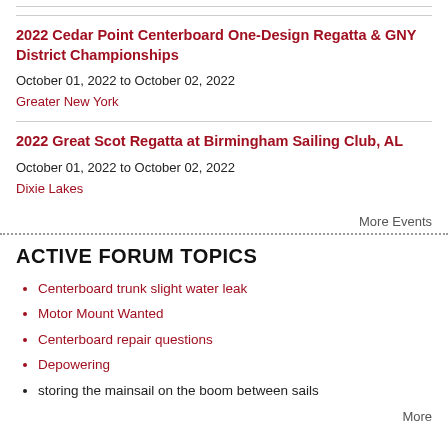2022 Cedar Point Centerboard One-Design Regatta & GNY District Championships
October 01, 2022 to October 02, 2022
Greater New York
2022 Great Scot Regatta at Birmingham Sailing Club, AL
October 01, 2022 to October 02, 2022
Dixie Lakes
More Events
ACTIVE FORUM TOPICS
Centerboard trunk slight water leak
Motor Mount Wanted
Centerboard repair questions
Depowering
storing the mainsail on the boom between sails
More